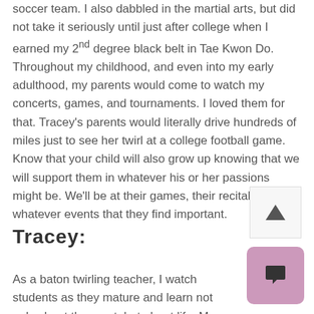soccer team.  I also dabbled in the martial arts, but did not take it seriously until just after college when I earned my 2nd degree black belt in Tae Kwon Do.  Throughout my childhood, and even into my early adulthood, my parents would come to watch my concerts, games, and tournaments.  I loved them for that.  Tracey's parents would literally drive hundreds of miles just to see her twirl at a college football game.  Know that your child will also grow up knowing that we will support them in whatever his or her passions might be.  We'll be at their games, their recitals, or whatever events that they find important.
Tracey:
As a baton twirling teacher, I watch students as they mature and learn not only about the sport, but about life.  My job is to give them, not only technical skills, but practical ones too.  Together, my students and I set short and long term goals for achievement.  We plan out practice schedules